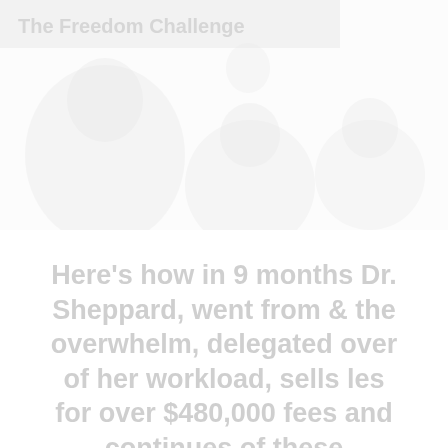[Figure (photo): Faded/washed-out composite photo showing people in a workspace or office environment, very light/overexposed. A header text overlay at the top reads 'The Freedom Challenge' in bold. The image is light and nearly white.]
Here's how in 9 months Dr. Sheppard, went from & overwhelm, delegated over of her workload, sells les for over $480,000 fee and continues of these